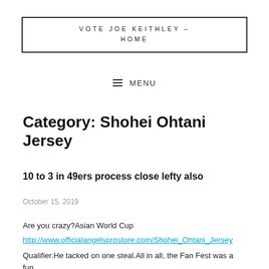VOTE JOE KEITHLEY – HOME
MENU
Category: Shohei Ohtani Jersey
10 to 3 in 49ers process close lefty also
October 15, 2019
Are you crazy?Asian World Cup
http://www.officialangelsprostore.com/Shohei_Ohtani_Jersey
Qualifier.He tacked on one steal.All in all, the Fan Fest was a fun